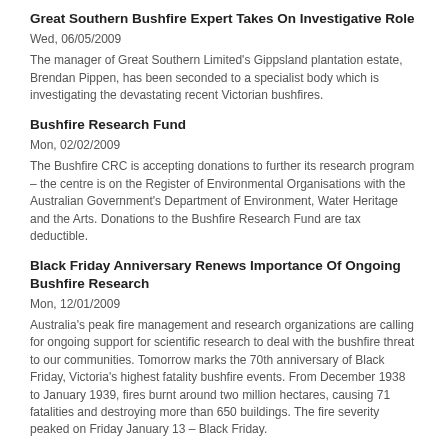Great Southern Bushfire Expert Takes On Investigative Role
Wed, 06/05/2009
The manager of Great Southern Limited's Gippsland plantation estate, Brendan Pippen, has been seconded to a specialist body which is investigating the devastating recent Victorian bushfires.
Bushfire Research Fund
Mon, 02/02/2009
The Bushfire CRC is accepting donations to further its research program – the centre is on the Register of Environmental Organisations with the Australian Government's Department of Environment, Water Heritage and the Arts. Donations to the Bushfire Research Fund are tax deductible.
Black Friday Anniversary Renews Importance Of Ongoing Bushfire Research
Mon, 12/01/2009
Australia's peak fire management and research organizations are calling for ongoing support for scientific research to deal with the bushfire threat to our communities. Tomorrow marks the 70th anniversary of Black Friday, Victoria's highest fatality bushfire events. From December 1938 to January 1939, fires burnt around two million hectares, causing 71 fatalities and destroying more than 650 buildings. The fire severity peaked on Friday January 13 – Black Friday.
Research To Help DEH Take Care Of Their Firefighters